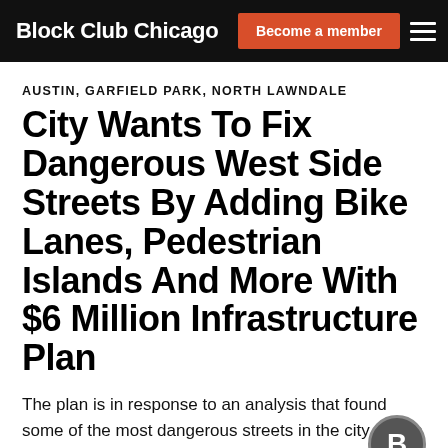Block Club Chicago | Become a member
AUSTIN, GARFIELD PARK, NORTH LAWNDALE
City Wants To Fix Dangerous West Side Streets By Adding Bike Lanes, Pedestrian Islands And More With $6 Million Infrastructure Plan
The plan is in response to an analysis that found some of the most dangerous streets in the city are on the West Side.